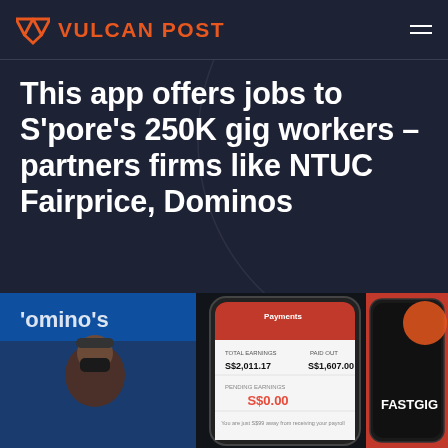VULCAN POST
This app offers jobs to S'pore's 250K gig workers – partners firms like NTUC Fairprice, Dominos
Angela Teng  •  April 19, 2022
[Figure (photo): Hero image showing a Domino's store exterior with a masked woman in foreground, a smartphone showing a FastGig payment screen with S$2,011.17 total earnings and S$1,607.00 paid out, and a FastGig branded phone on the right.]